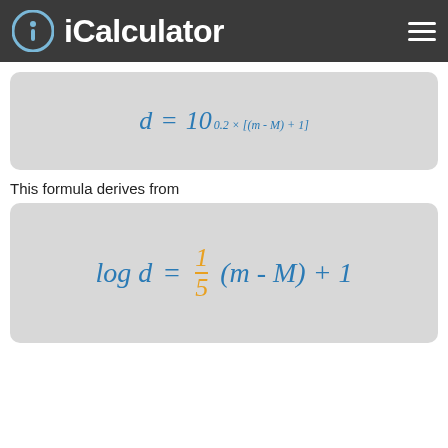iCalculator
This formula derives from